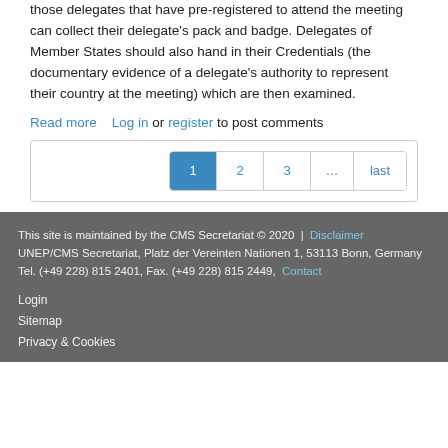those delegates that have pre-registered to attend the meeting can collect their delegate's pack and badge. Delegates of Member States should also hand in their Credentials (the documentary evidence of a delegate's authority to represent their country at the meeting) which are then examined.
Read more   Log in or register to post comments
Pagination: 1 2 3 ... last
This site is maintained by the CMS Secretariat © 2020  |  Disclaimer
UNEP/CMS Secretariat, Platz der Vereinten Nationen 1, 53113 Bonn, Germany
Tel. (+49 228) 815 2401, Fax. (+49 228) 815 2449,  Contact
Login
Sitemap
Privacy & Cookies